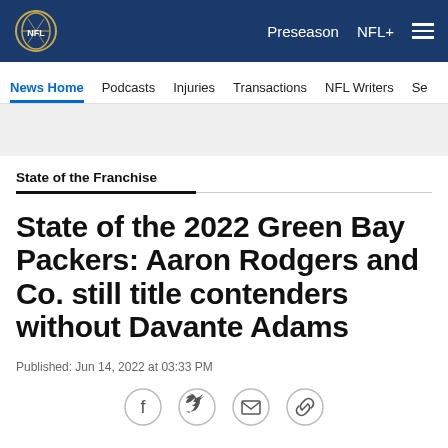NFL — Preseason  NFL+
News Home  Podcasts  Injuries  Transactions  NFL Writers  Se
State of the Franchise
State of the 2022 Green Bay Packers: Aaron Rodgers and Co. still title contenders without Davante Adams
Published: Jun 14, 2022 at 03:33 PM